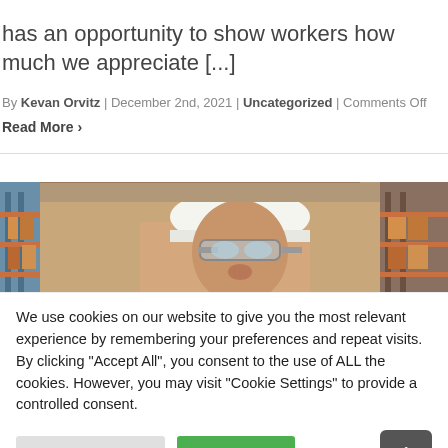has an opportunity to show workers how much we appreciate [...]
By Kevan Orvitz | December 2nd, 2021 | Uncategorized | Comments Off
Read More >
[Figure (photo): Worker in white hard hat and safety glasses looking up inside a warehouse with shelving racks]
We use cookies on our website to give you the most relevant experience by remembering your preferences and repeat visits. By clicking "Accept All", you consent to the use of ALL the cookies. However, you may visit "Cookie Settings" to provide a controlled consent.